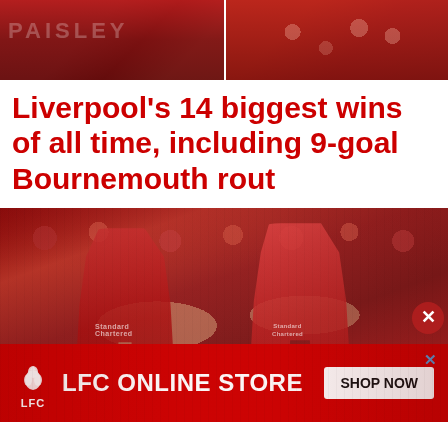[Figure (photo): Two small photos side by side: left shows a red brick stadium exterior with signage, right shows fans in red in stadium stands]
Liverpool’s 14 biggest wins of all time, including 9-goal Bournemouth rout
[Figure (photo): Two Liverpool FC players in red jerseys celebrating with a high-five on the pitch, crowd in background]
[Figure (other): LFC Online Store advertisement banner with LFC liver bird logo on red background, text LFC ONLINE STORE and SHOP NOW button]